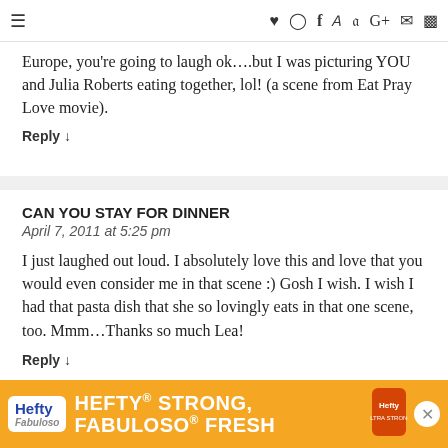≡ ♥ Instagram Facebook Pinterest Twitter G+ Email RSS
Europe, you're going to laugh ok….but I was picturing YOU and Julia Roberts eating together, lol! (a scene from Eat Pray Love movie).
Reply ↓
CAN YOU STAY FOR DINNER
April 7, 2011 at 5:25 pm
I just laughed out loud. I absolutely love this and love that you would even consider me in that scene :) Gosh I wish. I wish I had that pasta dish that she so lovingly eats in that one scene, too. Mmm…Thanks so much Lea!
Reply ↓
[Figure (infographic): Hefty brand advertisement banner: orange background with Hefty logo, Fabuloso sub-logo, text reading HEFTY STRONG, FABULOSO FRESH]